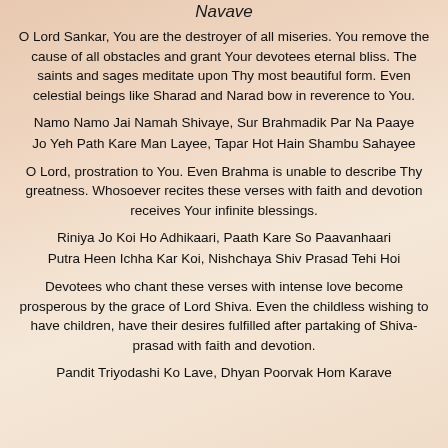Navave
O Lord Sankar, You are the destroyer of all miseries. You remove the cause of all obstacles and grant Your devotees eternal bliss. The saints and sages meditate upon Thy most beautiful form. Even celestial beings like Sharad and Narad bow in reverence to You.
Namo Namo Jai Namah Shivaye, Sur Brahmadik Par Na Paaye
Jo Yeh Path Kare Man Layee, Tapar Hot Hain Shambu Sahayee
O Lord, prostration to You. Even Brahma is unable to describe Thy greatness. Whosoever recites these verses with faith and devotion receives Your infinite blessings.
Riniya Jo Koi Ho Adhikaari, Paath Kare So Paavanhaari
Putra Heen Ichha Kar Koi, Nishchaya Shiv Prasad Tehi Hoi
Devotees who chant these verses with intense love become prosperous by the grace of Lord Shiva. Even the childless wishing to have children, have their desires fulfilled after partaking of Shiva-prasad with faith and devotion.
Pandit Triyodashi Ko Lave, Dhyan Poorvak Hom Karave